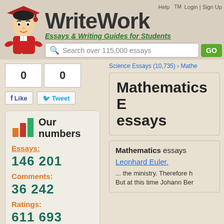[Figure (logo): WriteWork website logo with mascot student character wearing graduation cap, site name in large bold text, tagline Essays & Writing Guides for Students]
Help   TM   Login | Sign Up
Search over 115,000 essays
0
0
Like
Tweet
Science Essays (10,735) › Mathe
Mathematics E essays
[Figure (illustration): Bar chart icon with orange, red, and green bars]
Our numbers
Essays: 146 201
Comments: 36 242
Ratings: 611 693
Mathematics essays
Leonhard Euler.
... the ministry. Therefore h But at this time Johann Ber